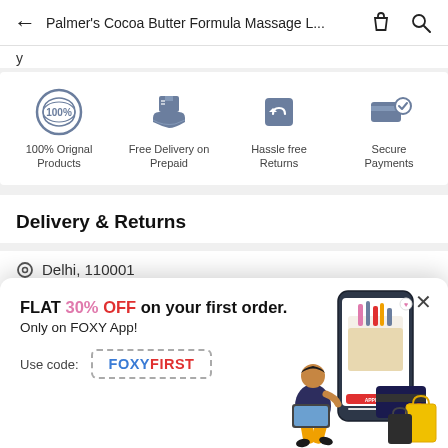Palmer's Cocoa Butter Formula Massage L...
[Figure (infographic): Four trust badge icons: 100% Original Products, Free Delivery on Prepaid, Hassle free Returns, Secure Payments]
Delivery & Returns
Delhi 110001
[Figure (infographic): Promotional popup: FLAT 30% OFF on your first order. Only on FOXY App! Use code: FOXYFIRST. Illustration of a person sitting with a phone showing beauty products, shopping bags, and a credit card.]